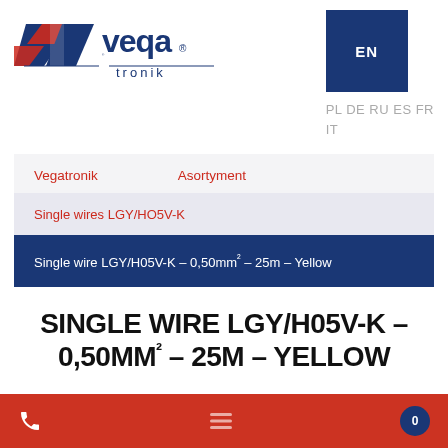[Figure (logo): Vegatronik logo — stylized navy/red angular mark with 'veqa' lettering and 'tronik' text below, registered trademark symbol]
EN
PL DE RU ES FR IT
Vegatronik
Asortyment
Single wires LGY/HO5V-K
Single wire LGY/H05V-K – 0,50mm² – 25m – Yellow
SINGLE WIRE LGY/H05V-K – 0,50MM² – 25M – YELLOW
0